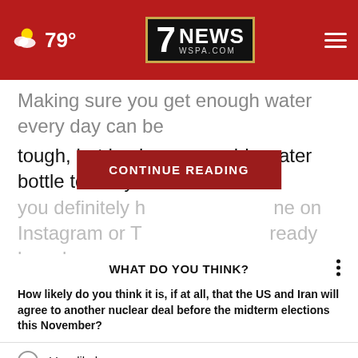7NEWS WSPA.COM — 79°
Making sure you get enough water every day can be tough, but having a reusable water bottle to carry with you definitely helps. You've probably seen one on Instagram or TikTok and may have already heard
CONTINUE READING
WHAT DO YOU THINK?
How likely do you think it is, if at all, that the US and Iran will agree to another nuclear deal before the midterm elections this November?
Very likely
Somewhat likely
Not at all likely
Other / No opinion